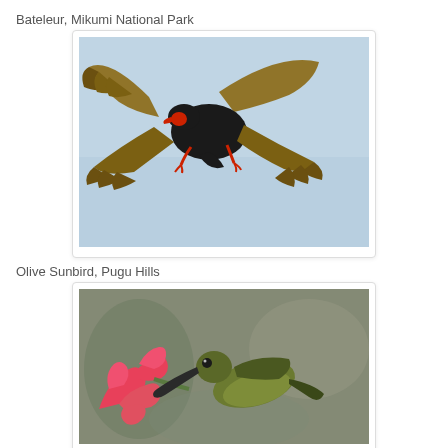Bateleur, Mikumi National Park
[Figure (photo): Bateleur eagle in flight against a light blue sky, wings spread wide with dark body and brown wing feathers, red feet visible]
Olive Sunbird, Pugu Hills
[Figure (photo): Olive Sunbird with curved beak feeding from or near a pink/red tropical flower, photographed close-up against a blurred grey-green background]